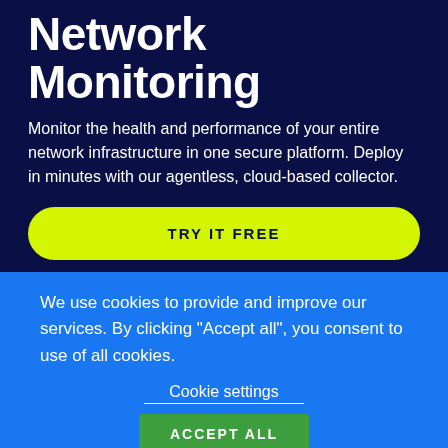Network Monitoring
Monitor the health and performance of your entire network infrastructure in one secure platform. Deploy in minutes with our agentless, cloud-based collector.
TRY IT FREE
We use cookies to provide and improve our services. By clicking "Accept all", you consent to use of all cookies.
Cookie settings
ACCEPT ALL